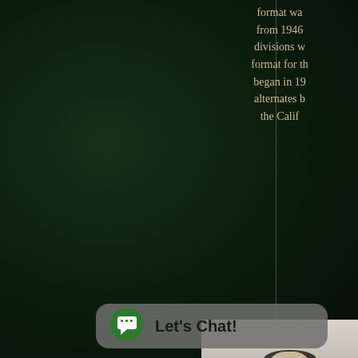format wa from 1946 divisions w format for th began in 19 alternates b the Calif
[Figure (photo): Black and white photograph of a baseball player or manager in uniform with cap, partial view cropped at right edge of page]
Let's Chat!